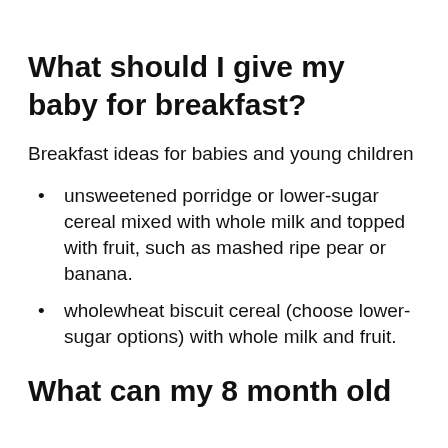What should I give my baby for breakfast?
Breakfast ideas for babies and young children
unsweetened porridge or lower-sugar cereal mixed with whole milk and topped with fruit, such as mashed ripe pear or banana.
wholewheat biscuit cereal (choose lower-sugar options) with whole milk and fruit.
What can my 8 month old